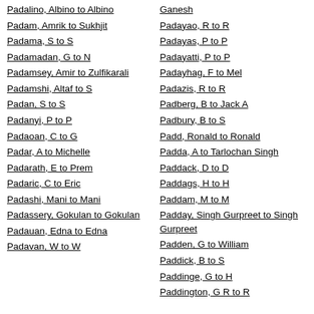Padalino, Albino to Albino
Padam, Amrik to Sukhjit
Padama, S to S
Padamadan, G to N
Padamsey, Amir to Zulfikarali
Padamshi, Altaf to S
Padan, S to S
Padanyi, P to P
Padaoan, C to G
Padar, A to Michelle
Padarath, E to Prem
Padaric, C to Eric
Padashi, Mani to Mani
Padassery, Gokulan to Gokulan
Padauan, Edna to Edna
Padavan, W to W
Ganesh
Padayao, R to R
Padayas, P to P
Padayatti, P to P
Padayhag, F to Mel
Padazis, R to R
Padberg, B to Jack A
Padbury, B to S
Padd, Ronald to Ronald
Padda, A to Tarlochan Singh
Paddack, D to D
Paddags, H to H
Paddam, M to M
Padday, Singh Gurpreet to Singh Gurpreet
Padden, G to William
Paddick, B to S
Paddinge, G to H
Paddington, G R to R